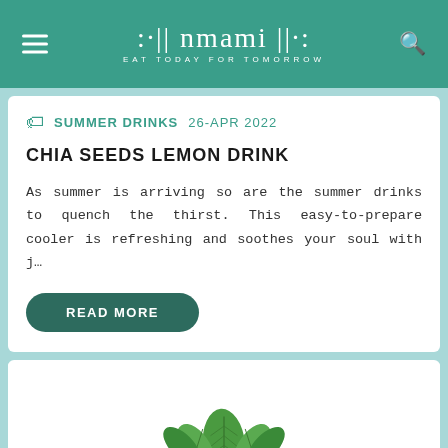nmami — EAT TODAY FOR TOMORROW
SUMMER DRINKS   26-APR 2022
CHIA SEEDS LEMON DRINK
As summer is arriving so are the summer drinks to quench the thirst. This easy-to-prepare cooler is refreshing and soothes your soul with j…
READ MORE
[Figure (photo): A glass containing a lemon drink garnished with fresh mint leaves, viewed from above on a dark ceramic plate.]